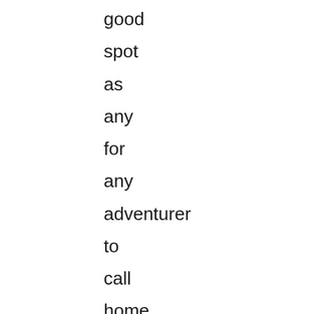good spot as any for any adventurer to call home. Powell is a student at Cleveland State University, who grew up in Mentor